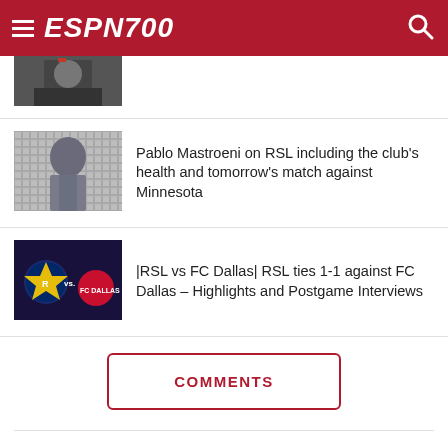ESPN700
[Figure (photo): Partial thumbnail of a person in a suit with a red tie, top of page]
Pablo Mastroeni on RSL including the club's health and tomorrow's match against Minnesota
[Figure (photo): Pablo Mastroeni headshot against a grey acoustic foam background]
|RSL vs FC Dallas| RSL ties 1-1 against FC Dallas – Highlights and Postgame Interviews
[Figure (photo): RSL vs FC Dallas match graphic with team logos]
COMMENTS